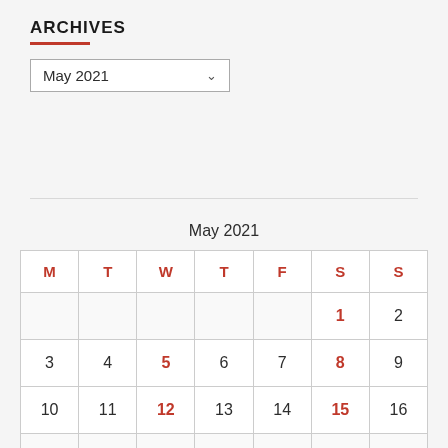ARCHIVES
May 2021 (dropdown)
| M | T | W | T | F | S | S |
| --- | --- | --- | --- | --- | --- | --- |
|  |  |  |  |  | 1 | 2 |
| 3 | 4 | 5 | 6 | 7 | 8 | 9 |
| 10 | 11 | 12 | 13 | 14 | 15 | 16 |
|  |  |  |  |  |  |  |
May 2021